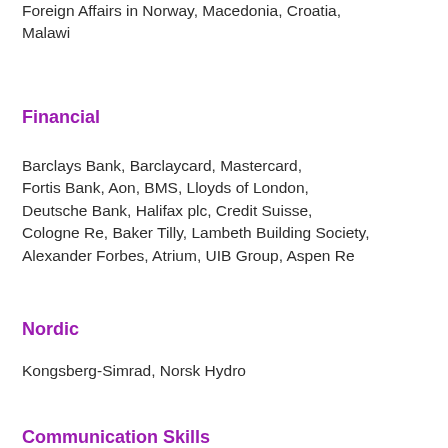Foreign Affairs in Norway, Macedonia, Croatia, Malawi
Financial
Barclays Bank, Barclaycard, Mastercard, Fortis Bank, Aon, BMS, Lloyds of London, Deutsche Bank, Halifax plc, Credit Suisse, Cologne Re, Baker Tilly, Lambeth Building Society, Alexander Forbes, Atrium, UIB Group, Aspen Re
Nordic
Kongsberg-Simrad, Norsk Hydro
Communication Skills